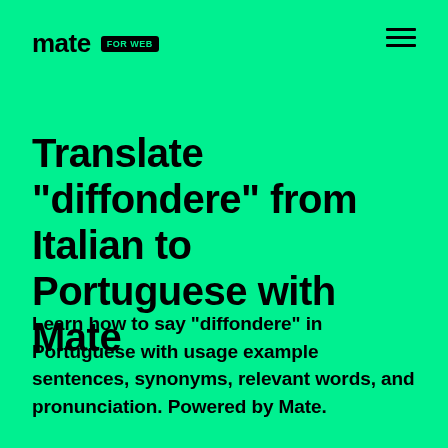mate FOR WEB
Translate "diffondere" from Italian to Portuguese with Mate
Learn how to say "diffondere" in Portuguese with usage example sentences, synonyms, relevant words, and pronunciation. Powered by Mate.